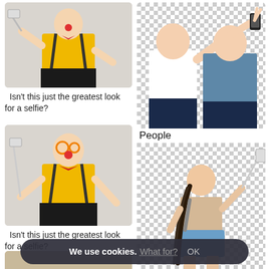[Figure (photo): Person dressed as clown in yellow shirt with suspenders, holding a selfie stick, raising one hand, against light gray background]
Isn't this just the greatest look for a selfie?
[Figure (photo): Two young men taking a selfie together, one in white shirt, one in blue shirt, against checkered transparent background]
People
[Figure (photo): Same clown person in yellow shirt with suspenders, red bow tie, holding selfie stick, arms out, against light gray background]
Isn't this just the greatest look for a selfie?
[Figure (photo): Young woman with long braids holding a selfie stick, wearing a beige top and blue shorts with a backpack, against checkered transparent background]
[Figure (photo): Partial view of bottom-left image showing a person and a cat against a tan/beige background]
We use cookies. What for? OK